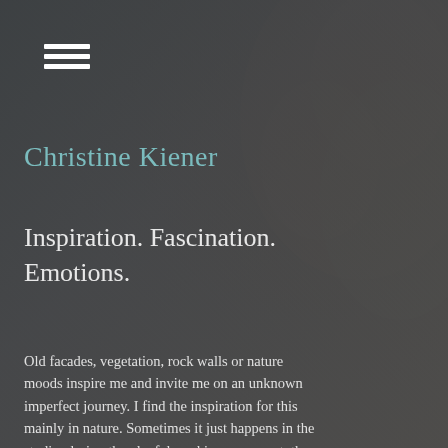[Figure (illustration): Dark grey textured background with subtle organic shapes and overlay, suggesting natural textures like rock or foliage in muted tones on the right side.]
≡
Christine Kiener
Inspiration. Fascination. Emotions.
Old facades, vegetation, rock walls or nature moods inspire me and invite me on an unknown imperfect journey. I find the inspiration for this mainly in nature. Sometimes it just happens in the studio, during the playful working process at, the